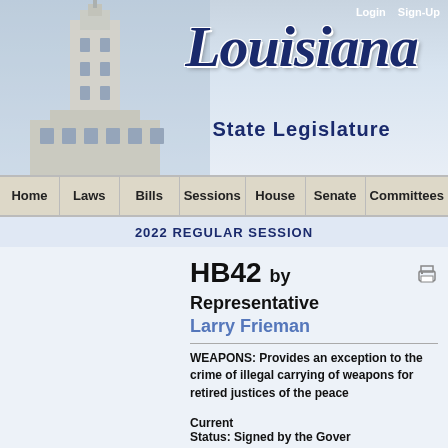[Figure (screenshot): Louisiana State Capitol building photo used as background header image]
Login   Sign-Up
Louisiana State Legislature
Home  Laws  Bills  Sessions  House  Senate  Committees
2022 REGULAR SESSION
HB42  by Representative Larry Frieman
WEAPONS:  Provides an exception to the crime of illegal carrying of weapons for retired justices of the peace
Current Status:  Signed by the Governor